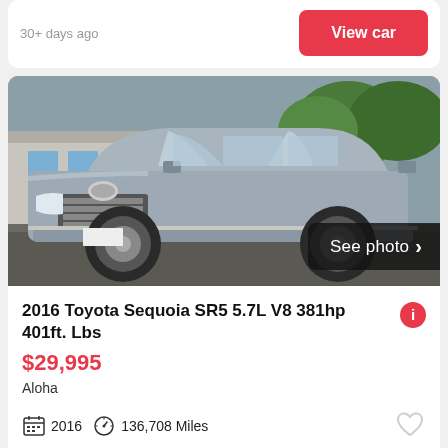30+ days ago
View car
[Figure (photo): Silver/gray 2016 Toyota Sequoia SR5 SUV parked in front of a building with trees in background. 'See photo >' overlay button at bottom right.]
2016 Toyota Sequoia SR5 5.7L V8 381hp 401ft. Lbs
$29,995
Aloha
2016   136,708 Miles
30+ days ago
View car